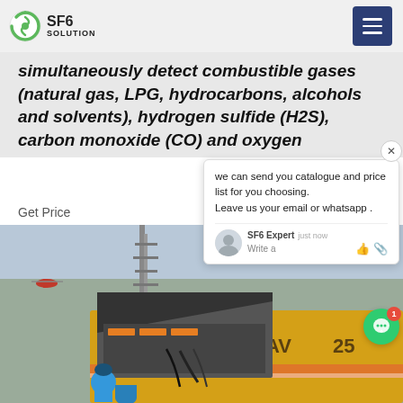SF6 SOLUTION
simultaneously detect combustible gases (natural gas, LPG, hydrocarbons, alcohols and solvents), hydrogen sulfide (H2S), carbon monoxide (CO) and oxygen
Get Price
[Figure (photo): Industrial scene showing a yellow truck/vehicle with open panel revealing equipment, a worker in blue helmet, industrial tower in background, and a helicopter visible in the sky.]
we can send you catalogue and price list for you choosing. Leave us your email or whatsapp .
SF6 Expert   just now
Write a